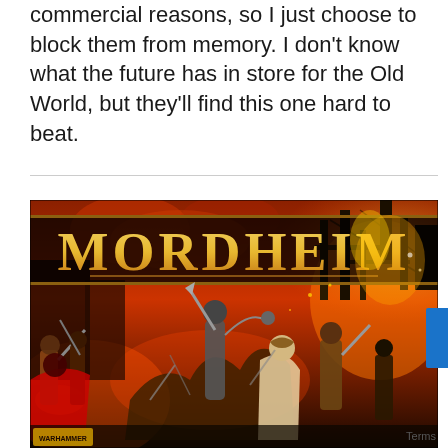commercial reasons, so I just choose to block them from memory. I don't know what the future has in store for the Old World, but they'll find this one hard to beat.
[Figure (photo): Mordheim board game box art showing the game title 'MORDHEIM' in large stylized gothic lettering over a dramatic battle scene with warriors fighting in a ruined city, with fire and chaos in the background. Warhammer logo visible at bottom left.]
Terms